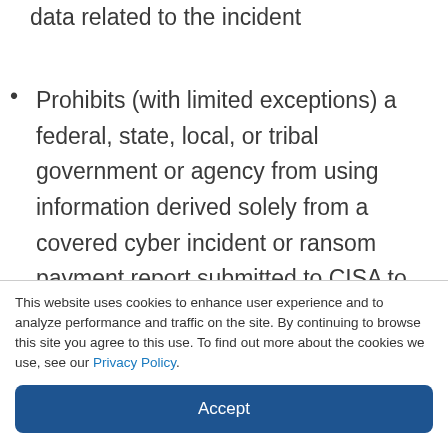data related to the incident
Prohibits (with limited exceptions) a federal, state, local, or tribal government or agency from using information derived solely from a covered cyber incident or ransom payment report submitted to CISA to undertake a regulatory or other enforcement action against the covered
This website uses cookies to enhance user experience and to analyze performance and traffic on the site. By continuing to browse this site you agree to this use. To find out more about the cookies we use, see our Privacy Policy.
Accept